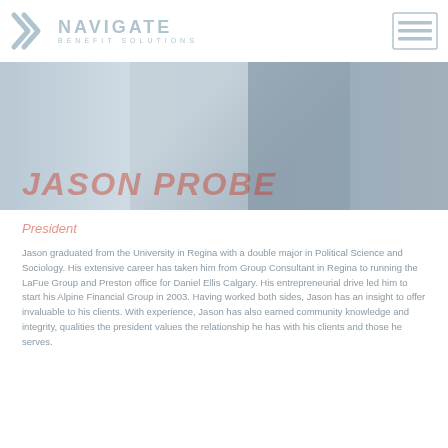NAVIGATE BENEFIT SOLUTIONS
[Figure (photo): Hero banner with background image of audience/crowd, partially faded. Navigate Benefit Solutions logo top left, navigation icon top right.]
JASON PROBE
President
Jason graduated from the University in Regina with a double major in Political Science and Sociology. His extensive career has taken him from Group Consultant in Regina to running the LaFue Group and Preston office for Daniel Ellis Calgary. His entrepreneurial drive led him to start his Alpine Financial Group in 2003. Having worked both sides, Jason has an insight to offer invaluable to his clients. With experience, Jason has also earned community knowledge and integrity, qualities the president values the relationship he has with his clients and those he serves.